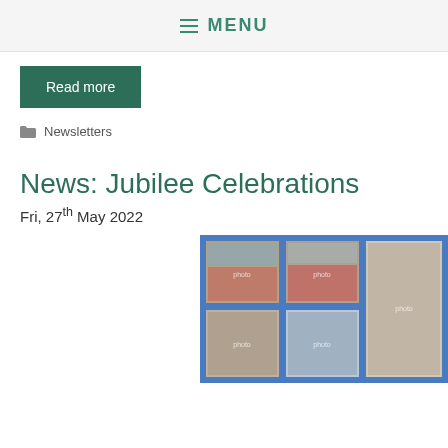MENU
Read more
Newsletters
News: Jubilee Celebrations
Fri, 27th May 2022
[Figure (photo): Photo collage on blue background showing children celebrating Jubilee at school: multiple photos of children seated at tables with red tablecloths, eating and celebrating, in a school hall setting.]